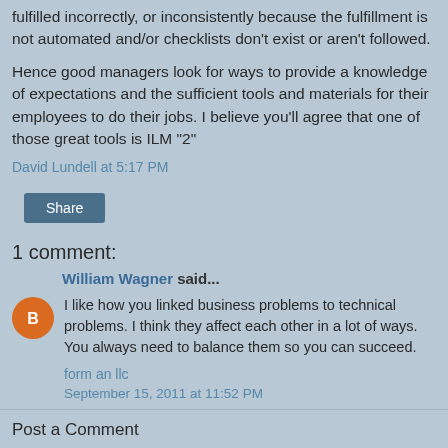fulfilled incorrectly, or inconsistently because the fulfillment is not automated and/or checklists don't exist or aren't followed.
Hence good managers look for ways to provide a knowledge of expectations and the sufficient tools and materials for their employees to do their jobs. I believe you'll agree that one of those great tools is ILM "2"
David Lundell at 5:17 PM
Share
1 comment:
William Wagner said...
I like how you linked business problems to technical problems. I think they affect each other in a lot of ways. You always need to balance them so you can succeed.
form an llc
September 15, 2011 at 11:52 PM
Post a Comment